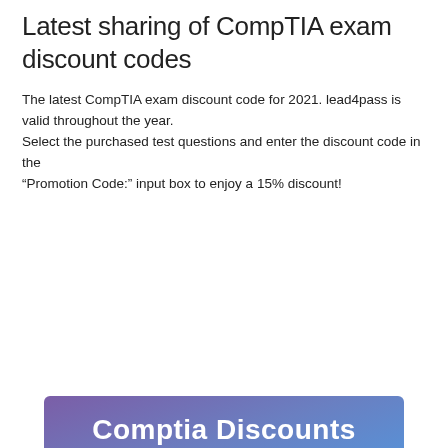Latest sharing of CompTIA exam discount codes
The latest CompTIA exam discount code for 2021. lead4pass is valid throughout the year.
Select the purchased test questions and enter the discount code in the “Promotion Code:” input box to enjoy a 15% discount!
[Figure (infographic): Promotional banner with purple/blue gradient background. Top section: 'Comptia Discounts come from Lead4Pass Special Offer 2021'. Bottom section: 'Join Rewards & get an EXTRA 15% OFF coupon' with a green 'Comptia' button.]